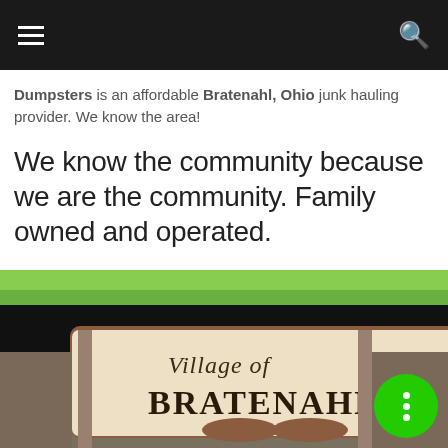Dumpsters is an affordable Bratenahl, Ohio junk hauling provider. We know the area!
We know the community because we are the community. Family owned and operated.
[Figure (photo): Photo of a wooden Village of Bratenahl welcome sign with decorative tree cutouts, set against a backdrop of green lawn and trees. A green circular button overlay with three white dots (vertical ellipsis) is in the lower right corner.]